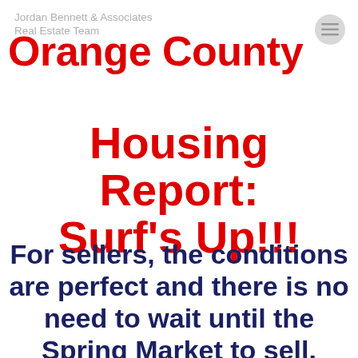Jordan Bennett & Associates
Real Estate Team
Orange County Housing Report: Surf's Up!!!
For sellers, the conditions are perfect and there is no need to wait until the Spring Market to sell.